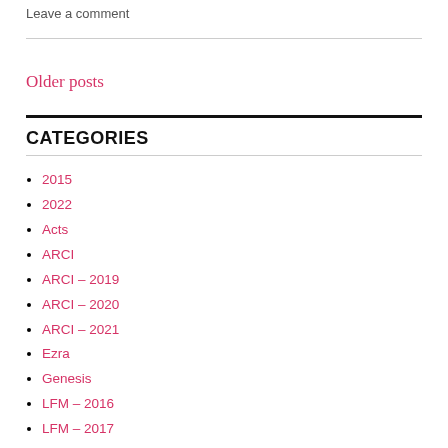Leave a comment
Older posts
CATEGORIES
2015
2022
Acts
ARCI
ARCI – 2019
ARCI – 2020
ARCI – 2021
Ezra
Genesis
LFM – 2016
LFM – 2017
LFM – 2019
LFM – Teaching
Matthew
Nehemiah
Spiritual Nourishment